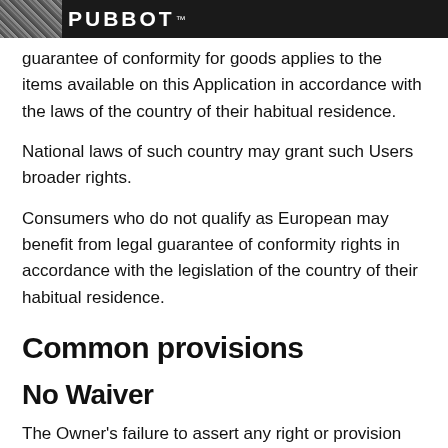PubBot™
guarantee of conformity for goods applies to the items available on this Application in accordance with the laws of the country of their habitual residence.
National laws of such country may grant such Users broader rights.
Consumers who do not qualify as European may benefit from legal guarantee of conformity rights in accordance with the legislation of the country of their habitual residence.
Common provisions
No Waiver
The Owner's failure to assert any right or provision under